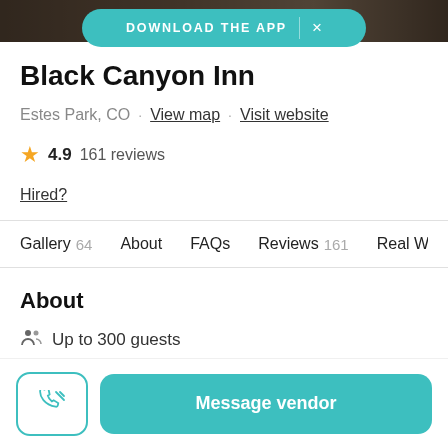[Figure (screenshot): App download banner in teal with 'DOWNLOAD THE APP' text and X close button]
Black Canyon Inn
Estes Park, CO · View map · Visit website
4.9  161 reviews
Hired?
Gallery 64   About   FAQs   Reviews 161   Real Weddi...
About
Up to 300 guests
Message vendor